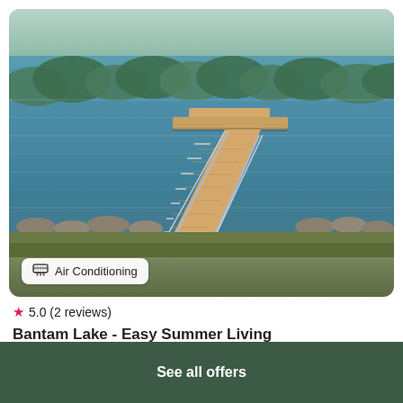[Figure (photo): Aerial/elevated view of a wooden dock with metal railings extending over a lake, with a T-shaped platform. Forested shoreline visible across the water. Rocky shore and grass in foreground.]
Air Conditioning
★ 5.0 (2 reviews)
Bantam Lake - Easy Summer Living
House · 7 Guests · 3 Bedrooms
$400 /night*
See all offers